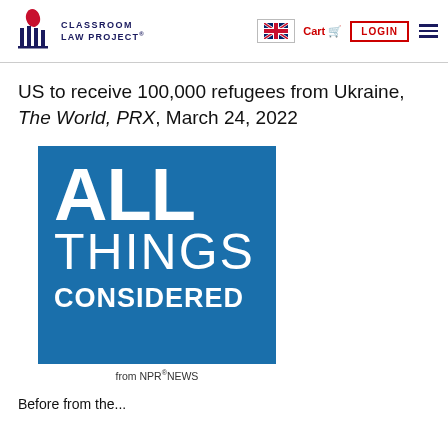Classroom Law Project® | Cart | LOGIN
US to receive 100,000 refugees from Ukraine, The World, PRX, March 24, 2022
[Figure (logo): All Things Considered from NPR News logo — blue square background with white bold text reading ALL THINGS CONSIDERED, and 'from NPR®NEWS' below]
Before from the...